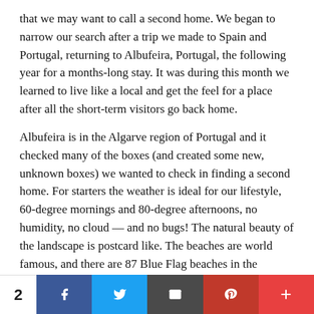that we may want to call a second home. We began to narrow our search after a trip we made to Spain and Portugal, returning to Albufeira, Portugal, the following year for a months-long stay. It was during this month we learned to live like a local and get the feel for a place after all the short-term visitors go back home.
Albufeira is in the Algarve region of Portugal and it checked many of the boxes (and created some new, unknown boxes) we wanted to check in finding a second home. For starters the weather is ideal for our lifestyle, 60-degree mornings and 80-degree afternoons, no humidity, no cloud — and no bugs! The natural beauty of the landscape is postcard like. The beaches are world famous, and there are 87 Blue Flag beaches in the Algarve alone.
The people are warm and welcoming; we felt right at home immediately. The lifestyle is simple and absurdly affordable. We literally walk everywhere and don't have a car. A fantastic dinner out including a bottle of wine may cost $35-$40. I'd go on but I'm afraid more people will want to
2